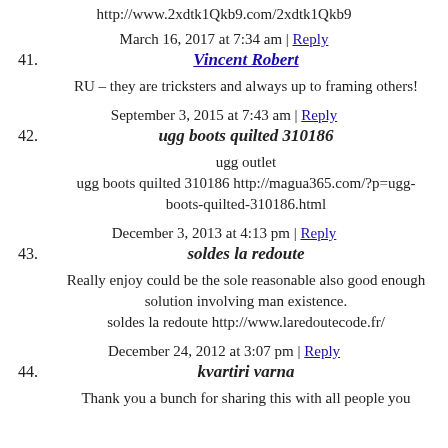http://www.2xdtk1Qkb9.com/2xdtk1Qkb9
March 16, 2017 at 7:34 am | Reply
41. Vincent Robert
RU – they are tricksters and always up to framing others!
September 3, 2015 at 7:43 am | Reply
42. ugg boots quilted 310186
ugg outlet
ugg boots quilted 310186 http://magua365.com/?p=ugg-boots-quilted-310186.html
December 3, 2013 at 4:13 pm | Reply
43. soldes la redoute
Really enjoy could be the sole reasonable also good enough solution involving man existence.
soldes la redoute http://www.laredoutecode.fr/
December 24, 2012 at 3:07 pm | Reply
44. kvartiri varna
Thank you a bunch for sharing this with all people you